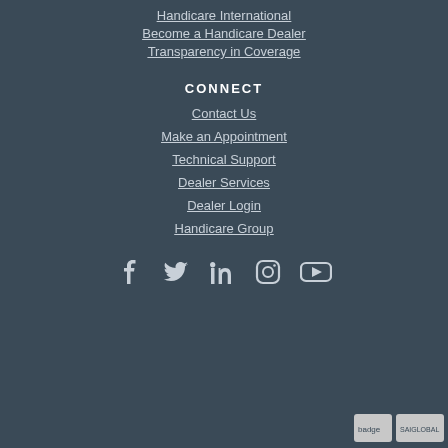Handicare International
Become a Handicare Dealer
Transparency in Coverage
CONNECT
Contact Us
Make an Appointment
Technical Support
Dealer Services
Dealer Login
Handicare Group
[Figure (infographic): Social media icons row: Facebook, Twitter, LinkedIn, Instagram, YouTube]
[Figure (logo): Certification badges at bottom right: a badge and SAI Global logo]